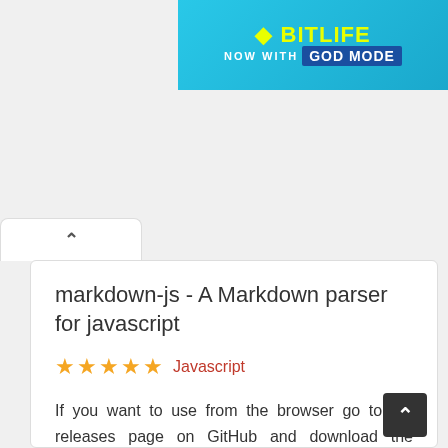[Figure (screenshot): BitLife game advertisement banner with 'NOW WITH GOD MODE' text on cyan/blue background]
markdown-js - A Markdown parser for javascript
★★★★★  Javascript
If you want to use from the browser go to the releases page on GitHub and download the version you want (minified or not). We only officially support node >= 0.10 as the libraries we use for building and testing don't work on older versions of node. That said since this module is so simple and doesn't use any parts of the node API if you use the pre-built version and find a